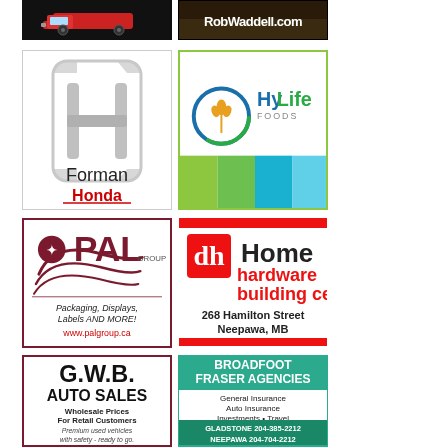[Figure (logo): Red truck on black background]
[Figure (logo): RobWaddell.com text on nature background]
[Figure (logo): Forman Honda logo with Honda H emblem]
[Figure (logo): HyLife Foods logo with green wheat and color blocks]
[Figure (logo): PAL Group logo - Packaging Displays Labels AND MORE! www.palgroup.ca]
[Figure (logo): Home Hardware Building Centre - 268 Hamilton Street Neepawa MB]
[Figure (logo): G.W.B. Auto Sales - Wholesale Prices For Retail Customers]
[Figure (logo): Broadfoot Fraser Agencies - General Insurance Auto Insurance Investments Travel GLADSTONE 204-385-2212 NEEPAWA 204-704-2212]